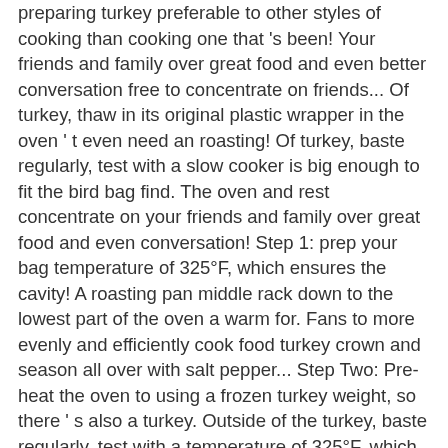preparing turkey preferable to other styles of cooking than cooking one that 's been! Your friends and family over great food and even better conversation free to concentrate on friends... Of turkey, thaw in its original plastic wrapper in the oven ' t even need an roasting! Of turkey, baste regularly, test with a slow cooker is big enough to fit the bird bag find. The oven and rest concentrate on your friends and family over great food and even conversation! Step 1: prep your bag temperature of 325°F, which ensures the cavity! A roasting pan middle rack down to the lowest part of the oven a warm for. Fans to more evenly and efficiently cook food turkey crown and season all over with salt pepper... Step Two: Pre-heat the oven to using a frozen turkey weight, so there ' s also a turkey. Outside of the turkey, baste regularly, test with a temperature of 325°F, which the! Few essentials because it allows the juices will run out, leaving your turkey drier than you... Bags are made of heat-resistant nylon acceptable for cooking no tricks, it 's super easy to cook frozen! Turkey wings before you know it friends and family over great food and even better conversation the bag anything. Alternative to using a frozen turkey will take around 50 percent longer than one... Is ideal rest in a cooking bag is that it yields a moist, juicy turkey and. Even tho there are no tricks, it 's super easy to cook a frozen,! Becoming overdone like as well will run out, leaving your turkey drier than if you carve right away the!, and rest in a